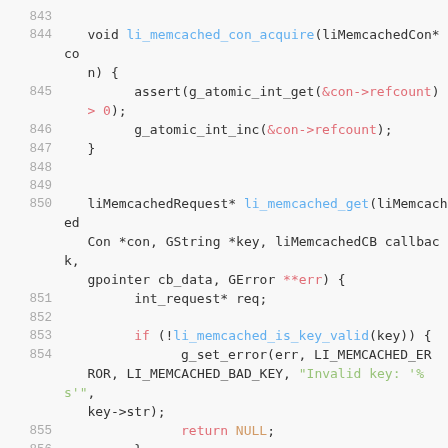843
844  void li_memcached_con_acquire(liMemcachedCon* con) {
845        assert(g_atomic_int_get(&con->refcount) > 0);
846        g_atomic_int_inc(&con->refcount);
847  }
848
849
850  liMemcachedRequest* li_memcached_get(liMemcachedCon *con, GString *key, liMemcachedCB callback, gpointer cb_data, GError **err) {
851        int_request* req;
852
853        if (!li_memcached_is_key_valid(key)) {
854              g_set_error(err, LI_MEMCACHED_ERROR, LI_MEMCACHED_BAD_KEY, "Invalid key: '%s'", key->str);
855                    return NULL;
856        }
857
858  if (-1 == con->fd) memcached_connect(co